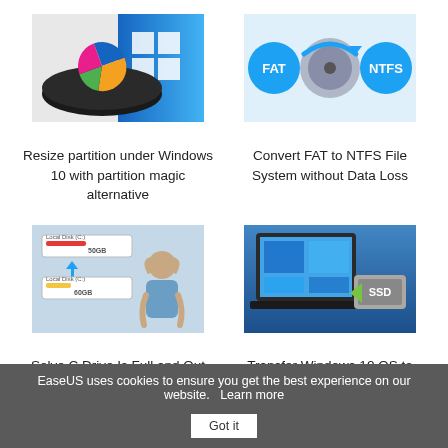[Figure (screenshot): Hard drive with colorful pie chart and Windows 10 interface]
[Figure (illustration): FAT and NTFS blue circle logos with a hard drive in the center]
Resize partition under Windows 10 with partition magic alternative
Convert FAT to NTFS File System without Data Loss
[Figure (screenshot): Disk partition manager showing C drive full warning with stressed person]
[Figure (illustration): Laptop with Windows 10 and SSD drive with green arrow indicating transfer]
Solve C Drive Is Full and Out
Transfer Windows 10 OS to
EaseUS uses cookies to ensure you get the best experience on our website.   Learn more   Got it